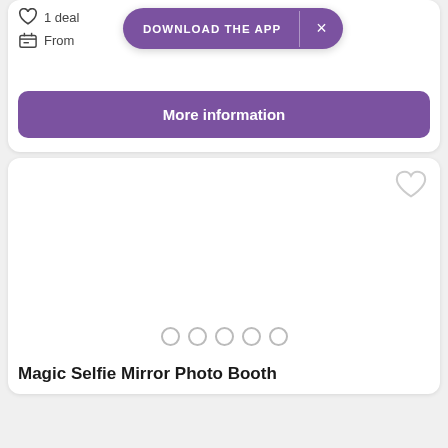[Figure (screenshot): Top section of a mobile app UI showing a heart/wishlist icon row, a 'From' icon row, a purple 'DOWNLOAD THE APP' banner with close button, and a purple 'More information' button]
[Figure (screenshot): Product card showing a blank white image area with a heart (favourite) icon in top-right, five circular dot indicators, and the title 'Magic Selfie Mirror Photo Booth']